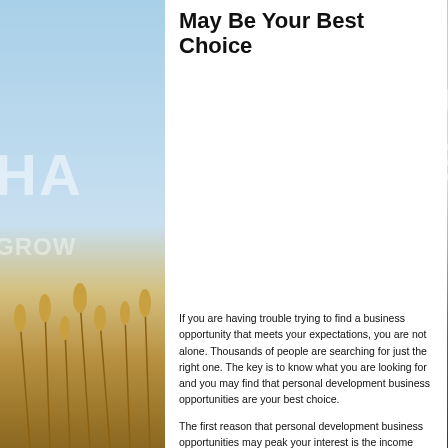May Be Your Best Choice
[Figure (photo): Background image with blue sky on left, wheat/grain stalks in foreground lower left, person in green shirt with arms raised on right side. Watermark text partially visible reading 'ROW' and 'HA' and 'LL S' in large white letters.]
If you are having trouble trying to find a business opportunity that meets your expectations, you are not alone. Thousands of people are searching for just the right one. The key is to know what you are looking for and you may find that personal development business opportunities are your best choice.
The first reason that personal development business opportunities may peak your interest is the income potential. Each year, people spend billions of dollars on self-improvement. In fact,